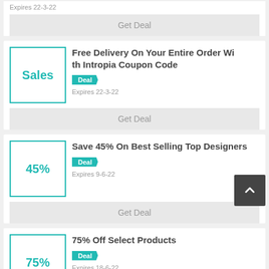Expires 22-3-22
Get Deal
Free Delivery On Your Entire Order With Intropia Coupon Code
Deal
Expires 22-3-22
Get Deal
Save 45% On Best Selling Top Designers
Deal
Expires 9-6-22
Get Deal
75% Off Select Products
Deal
Expires 18-6-22